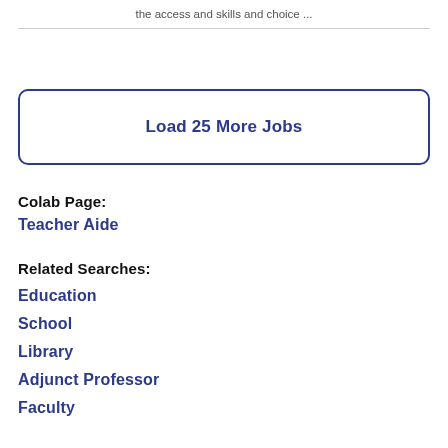the access and skills and choice ...
Load 25 More Jobs
Colab Page:
Teacher Aide
Related Searches:
Education
School
Library
Adjunct Professor
Faculty